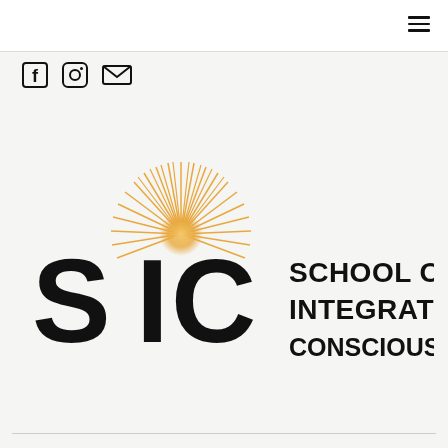Navigation menu
[Figure (other): Social media icons: Facebook, Instagram, Email]
[Figure (logo): School of Integrated Consciousness (SIC) logo with sunburst graphic and bold text reading SCHOOL OF INTEGRATED CONSCIOUSNESS]